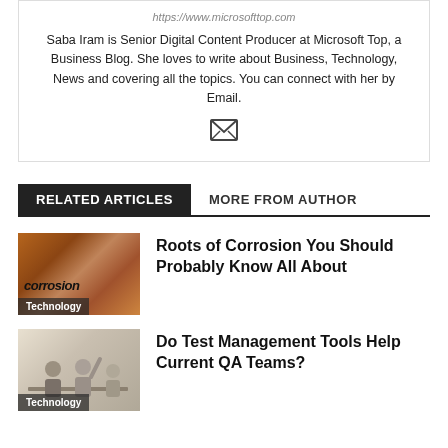https://www.microsofttop.com
Saba Iram is Senior Digital Content Producer at Microsoft Top, a Business Blog. She loves to write about Business, Technology, News and covering all the topics. You can connect with her by Email.
[Figure (illustration): Email envelope icon]
RELATED ARTICLES	MORE FROM AUTHOR
[Figure (photo): Corrosion themed image with text 'corrosion' and Technology label]
Roots of Corrosion You Should Probably Know All About
[Figure (photo): People working together, QA team image with Technology label]
Do Test Management Tools Help Current QA Teams?